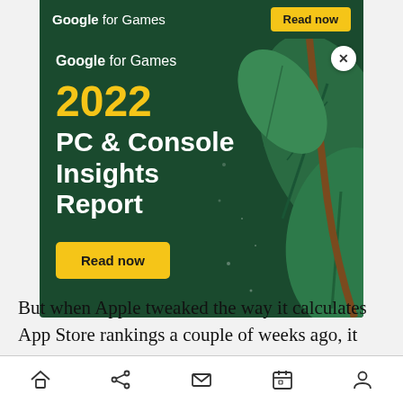[Figure (infographic): Google for Games advertisement banner. Top strip with 'Google for Games' text and 'Read now' yellow button. Main card with dark green background, decorative leaf illustration, 'Google for Games' brand, '2022 PC & Console Insights Report' title in white/yellow, and 'Read now' yellow button. Close (X) button in top right corner.]
But when Apple tweaked the way it calculates App Store rankings a couple of weeks ago, it also changed its stance on pay-per-install apps, for a
[Figure (other): Bottom navigation bar with home, share, email, calendar, and profile icons]